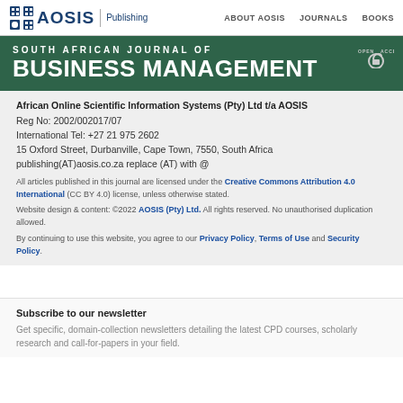AOSIS Publishing | ABOUT AOSIS | JOURNALS | BOOKS
SOUTH AFRICAN JOURNAL OF BUSINESS MANAGEMENT
African Online Scientific Information Systems (Pty) Ltd t/a AOSIS
Reg No: 2002/002017/07
International Tel: +27 21 975 2602
15 Oxford Street, Durbanville, Cape Town, 7550, South Africa
publishing(AT)aosis.co.za replace (AT) with @
All articles published in this journal are licensed under the Creative Commons Attribution 4.0 International (CC BY 4.0) license, unless otherwise stated.
Website design & content: ©2022 AOSIS (Pty) Ltd. All rights reserved. No unauthorised duplication allowed.
By continuing to use this website, you agree to our Privacy Policy, Terms of Use and Security Policy.
Subscribe to our newsletter
Get specific, domain-collection newsletters detailing the latest CPD courses, scholarly research and call-for-papers in your field.